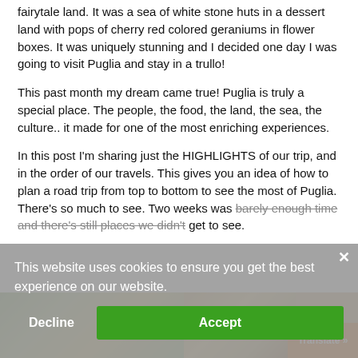fairytale land. It was a sea of white stone huts in a dessert land with pops of cherry red colored geraniums in flower boxes. It was uniquely stunning and I decided one day I was going to visit Puglia and stay in a trullo!
This past month my dream came true! Puglia is truly a special place. The people, the food, the land, the sea, the culture.. it made for one of the most enriching experiences.
In this post I'm sharing just the HIGHLIGHTS of our trip, and in the order of our travels. This gives you an idea of how to plan a road trip from top to bottom to see the most of Puglia. There's so much to see. Two weeks was barely enough time and there's still places we didn't get to see.
This website uses cookies to ensure you get the best experience on our website.
[Figure (photo): Bottom image strip showing food photos - left side appears to be a vegetable/salad dish, right side appears to be a bowl of food]